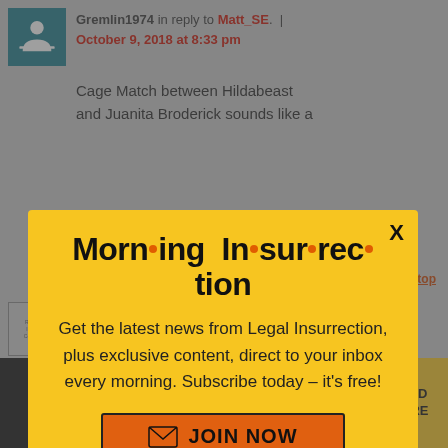Gremlin1974 in reply to Matt_SE. | October 9, 2018 at 8:33 pm
Cage Match between Hildabeast and Juanita Broderick sounds like a
[Figure (infographic): Yellow modal popup for Morning Insurrection newsletter with JOIN NOW button]
first 10 seconds without her staff to hold her up
[Figure (infographic): The Perspective advertisement banner: SEE WHAT YOU'RE MISSING / READ MORE]